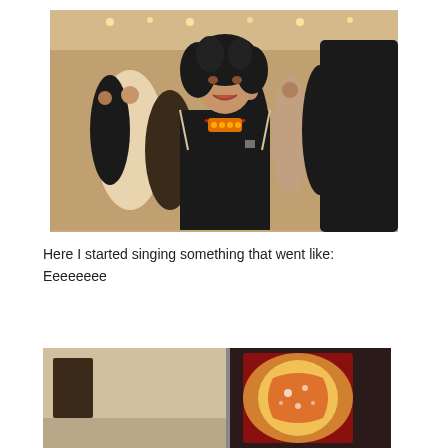[Figure (photo): A woman with curly dark hair wearing a black blazer with cream trim and a colorful orange/red necklace, speaking or smiling at a social gathering in what appears to be an art gallery. Multiple people are visible in the background.]
Here I started singing something that went like:
Eeeeeeee
[Figure (photo): Partial view of what appears to be an art gallery interior showing framed artwork on walls, with a colorful illuminated piece visible on the right.]